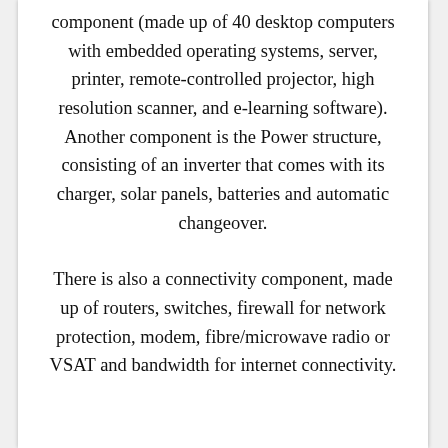component (made up of 40 desktop computers with embedded operating systems, server, printer, remote-controlled projector, high resolution scanner, and e-learning software). Another component is the Power structure, consisting of an inverter that comes with its charger, solar panels, batteries and automatic changeover.
There is also a connectivity component, made up of routers, switches, firewall for network protection, modem, fibre/microwave radio or VSAT and bandwidth for internet connectivity.